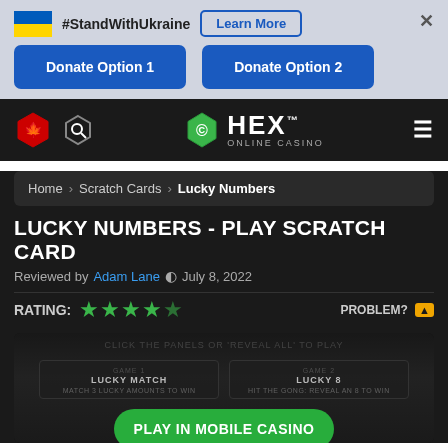[Figure (infographic): Ukraine flag banner with #StandWithUkraine text, Learn More button, close X, and two Donate Option buttons]
[Figure (logo): HEX Online Casino logo with navigation icons]
Home > Scratch Cards > Lucky Numbers
LUCKY NUMBERS - PLAY SCRATCH CARD
Reviewed by Adam Lane  July 8, 2022
RATING: ★★★★★ PROBLEM?
[Figure (screenshot): Lucky Numbers scratch card game screenshot showing Lucky Match and Lucky 8 game sections, with a Play In Mobile Casino green button and Not Available On Mobile text at bottom]